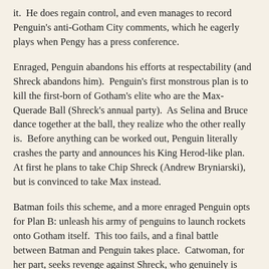it.  He does regain control, and even manages to record Penguin's anti-Gotham City comments, which he eagerly plays when Pengy has a press conference.
Enraged, Penguin abandons his efforts at respectability (and Shreck abandons him).  Penguin's first monstrous plan is to kill the first-born of Gotham's elite who are the Max-Querade Ball (Shreck's annual party).  As Selina and Bruce dance together at the ball, they realize who the other really is.  Before anything can be worked out, Penguin literally crashes the party and announces his King Herod-like plan. At first he plans to take Chip Shreck (Andrew Bryniarski), but is convinced to take Max instead.
Batman foils this scheme, and a more enraged Penguin opts for Plan B: unleash his army of penguins to launch rockets onto Gotham itself.  This too fails, and a final battle between Batman and Penguin takes place.  Catwoman, for her part, seeks revenge against Shreck, who genuinely is puzzled as to why Bruce Wayne is dressed like Batman.  "Because he IS Batman, you moron," the equally unmasked Kyle snaps.  A final battle between the three of them takes place now, with Selina disappearing and Shreck dead.